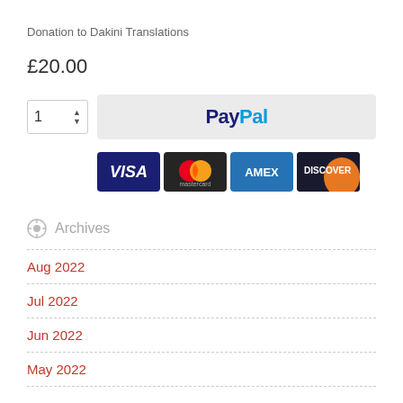Donation to Dakini Translations
£20.00
[Figure (screenshot): Quantity spinner set to 1, and a PayPal checkout button with payment card logos (Visa, Mastercard, Amex, Discover)]
Archives
Aug 2022
Jul 2022
Jun 2022
May 2022